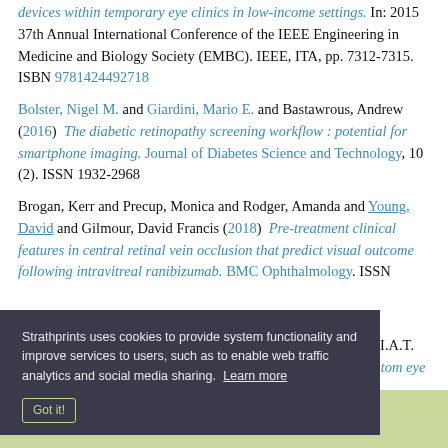devices within temporary eye clinics in low-income settings. In: 2015 37th Annual International Conference of the IEEE Engineering in Medicine and Biology Society (EMBC). IEEE, ITA, pp. 7312-7315. ISBN 9781424492718
Bolster, Nigel M. and Giardini, Mario E. and Bastawrous, Andrew (2016) The diabetic retinopathy screening workflow : potential for smartphone imaging. Journal of Diabetes Science and Technology, 10 (2). ISSN 1932-2968
Brogan, Kerr and Precup, Monica and Rodger, Amanda and Young, David and Gilmour, David Francis (2018) Pre-treatment clinical features in central retinal vein occlusion that predict visual outcome following intravitreal ranibizumab. BMC Ophthalmology. ISSN...
Coghill, I. and Jordan, K.C. and Black, R.A. and Livingstone, I.A.T. and Giardini, M.E.; 3D reconstruction of the fundus of a phantom eye through stereo imaging of slit lamp images. In: